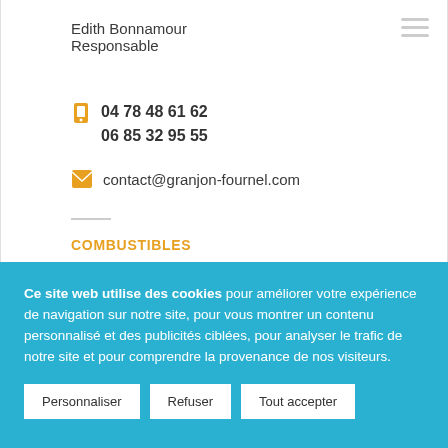Edith Bonnamour
Responsable
04 78 48 61 62
06 85 32 95 55
contact@granjon-fournel.com
COMBUSTIBLES
Ce site web utilise des cookies pour améliorer votre expérience de navigation sur notre site, pour vous montrer un contenu personnalisé et des publicités ciblées, pour analyser le trafic de notre site et pour comprendre la provenance de nos visiteurs.
Personnaliser
Refuser
Tout accepter